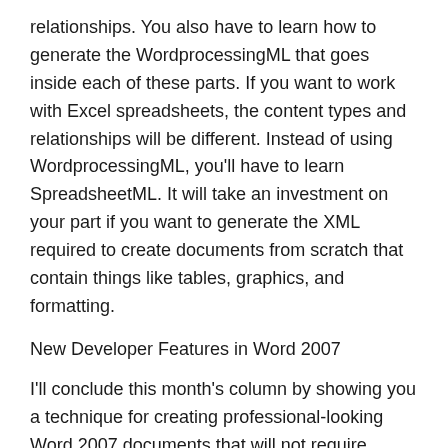relationships. You also have to learn how to generate the WordprocessingML that goes inside each of these parts. If you want to work with Excel spreadsheets, the content types and relationships will be different. Instead of using WordprocessingML, you'll have to learn SpreadsheetML. It will take an investment on your part if you want to generate the XML required to create documents from scratch that contain things like tables, graphics, and formatting.
New Developer Features in Word 2007
I'll conclude this month's column by showing you a technique for creating professional-looking Word 2007 documents that will not require writing code to generate WordprocessingML. I'll start by introducing two new features of Word 2007 that can be used when working with documents stored in the new Office Open XML File formats. The first feature is the XML data store, which allows you to